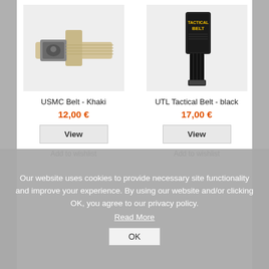[Figure (photo): USMC Belt in Khaki color - a woven khaki belt with a metallic USMC eagle globe anchor buckle, coiled/folded neatly on light gray background]
USMC Belt - Khaki
12,00 €
View
Add to wishlist
[Figure (photo): UTL Tactical Belt in black - a black nylon tactical belt with yellow branding tag attached, displayed on light gray background]
UTL Tactical Belt - black
17,00 €
View
Add to wishlist
Our website uses cookies to provide necessary site functionality and improve your experience. By using our website and/or clicking OK, you agree to our privacy policy.
Read More
OK